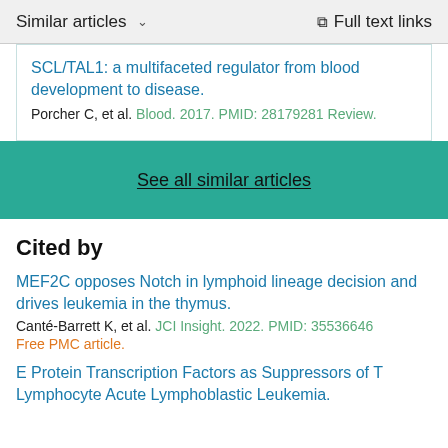Similar articles   ∨     Full text links
SCL/TAL1: a multifaceted regulator from blood development to disease.
Porcher C, et al. Blood. 2017. PMID: 28179281 Review.
See all similar articles
Cited by
MEF2C opposes Notch in lymphoid lineage decision and drives leukemia in the thymus.
Canté-Barrett K, et al. JCI Insight. 2022. PMID: 35536646
Free PMC article.
E Protein Transcription Factors as Suppressors of T Lymphocyte Acute Lymphoblastic Leukemia.